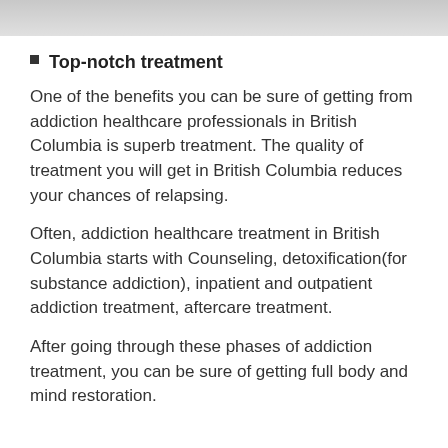[Figure (photo): Partial image strip at top of page, showing a grayscale/grey blurred photograph]
Top-notch treatment
One of the benefits you can be sure of getting from addiction healthcare professionals in British Columbia is superb treatment. The quality of treatment you will get in British Columbia reduces your chances of relapsing.
Often, addiction healthcare treatment in British Columbia starts with Counseling, detoxification(for substance addiction), inpatient and outpatient addiction treatment, aftercare treatment.
After going through these phases of addiction treatment, you can be sure of getting full body and mind restoration.